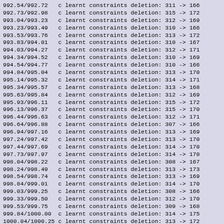992.54/992.72   c learnt constraints deletion: 311 -> 166
992.73/992.98   c learnt constraints deletion: 315 -> 172
993.04/993.23   c learnt constraints deletion: 312 -> 169
993.23/993.49   c learnt constraints deletion: 310 -> 166
993.53/993.76   c learnt constraints deletion: 313 -> 172
993.83/994.01   c learnt constraints deletion: 310 -> 167
994.03/994.27   c learnt constraints deletion: 312 -> 171
994.34/994.52   c learnt constraints deletion: 310 -> 169
994.54/994.77   c learnt constraints deletion: 310 -> 166
994.84/995.04   c learnt constraints deletion: 313 -> 170
995.14/995.32   c learnt constraints deletion: 314 -> 171
995.34/995.57   c learnt constraints deletion: 313 -> 168
995.63/995.84   c learnt constraints deletion: 312 -> 169
995.93/996.11   c learnt constraints deletion: 315 -> 172
996.13/996.37   c learnt constraints deletion: 315 -> 170
996.44/996.63   c learnt constraints deletion: 312 -> 171
996.64/996.88   c learnt constraints deletion: 307 -> 166
996.94/997.16   c learnt constraints deletion: 313 -> 169
997.24/997.42   c learnt constraints deletion: 313 -> 170
997.44/997.69   c learnt constraints deletion: 314 -> 170
997.73/997.97   c learnt constraints deletion: 314 -> 170
998.04/998.22   c learnt constraints deletion: 308 -> 167
998.24/998.49   c learnt constraints deletion: 313 -> 173
998.54/998.74   c learnt constraints deletion: 313 -> 169
998.84/999.01   c learnt constraints deletion: 314 -> 170
999.03/999.25   c learnt constraints deletion: 308 -> 166
999.33/999.50   c learnt constraints deletion: 312 -> 170
999.53/999.75   c learnt constraints deletion: 309 -> 168
999.84/1000.00  c learnt constraints deletion: 314 -> 175
1000.04/1000.25 c learnt constraints deletion: 313 -> 172
1000.34/1000.51 c learnt constraints deletion: 315 -> 173
1000.53/1000.77 c learnt constraints deletion: 315 -> 171